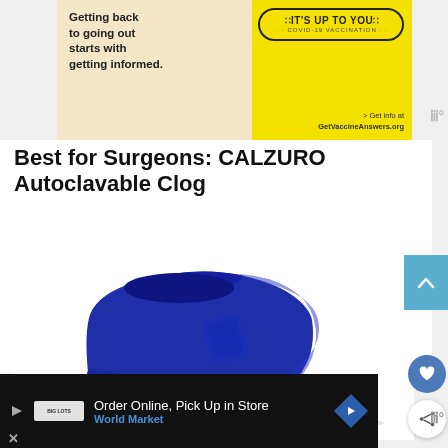[Figure (photo): Advertisement banner: 'Getting back to going out starts with getting informed.' with yellow panel 'IT'S UP TO YOU COVID-19 VACCINATION' and GetVaccineAnswers.org]
Best for Surgeons: CALZURO Autoclavable Clog
[Figure (photo): Blue CALZURO autoclavable clog shoe on white background, viewed from side, showing CALZURO logo embossed on side]
[Figure (screenshot): Bottom advertisement: Order Online, Pick Up in Store - World Market]